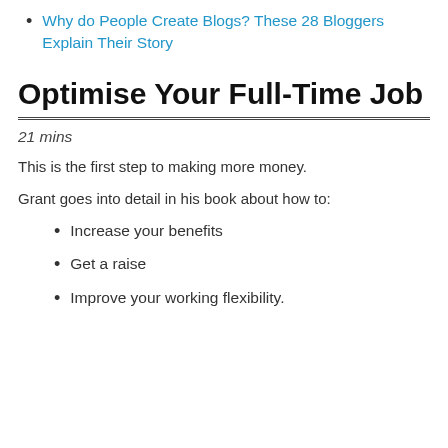Why do People Create Blogs? These 28 Bloggers Explain Their Story
Optimise Your Full-Time Job
21 mins
This is the first step to making more money.
Grant goes into detail in his book about how to:
Increase your benefits
Get a raise
Improve your working flexibility.